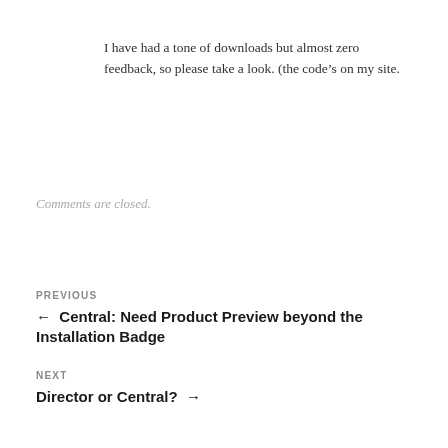I have had a tone of downloads but almost zero feedback, so please take a look. (the code’s on my site.
Comments are closed.
PREVIOUS
←  Central: Need Product Preview beyond the Installation Badge
NEXT
Director or Central?  →